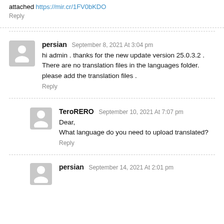attached https://mir.cr/1FV0bKDO
Reply
persian September 8, 2021 At 3:04 pm
hi admin . thanks for the new update version 25.0.3.2 .
There are no translation files in the languages folder.
please add the translation files .
Reply
TeroRERO September 10, 2021 At 7:07 pm
Dear,
What language do you need to upload translated?
Reply
persian September 14, 2021 At 2:01 pm